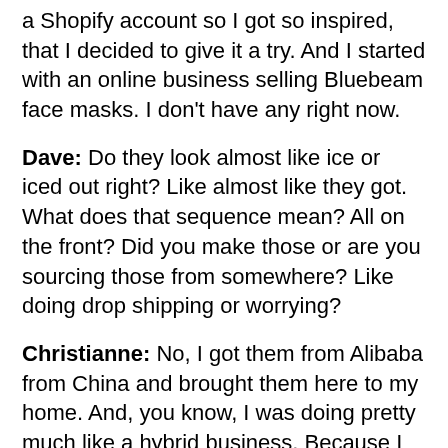a Shopify account so I got so inspired, that I decided to give it a try. And I started with an online business selling Bluebeam face masks. I don't have any right now.
Dave: Do they look almost like ice or iced out right? Like almost like they got. What does that sequence mean? All on the front? Did you make those or are you sourcing those from somewhere? Like doing drop shipping or worrying?
Christianne: No, I got them from Alibaba from China and brought them here to my home. And, you know, I was doing pretty much like a hybrid business. Because I have my Shopify account. Which was, you know, what's a good business? But at the same time I was. I met the owner of a club here in Phoenix. And he allowed me to put a table outside of the club because